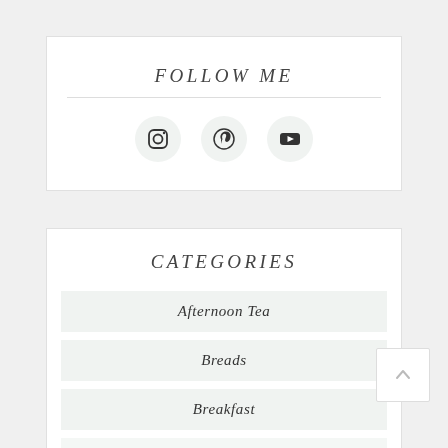FOLLOW ME
[Figure (infographic): Social media icons: Instagram, Pinterest, YouTube in circular buttons]
CATEGORIES
Afternoon Tea
Breads
Breakfast
Chocolate